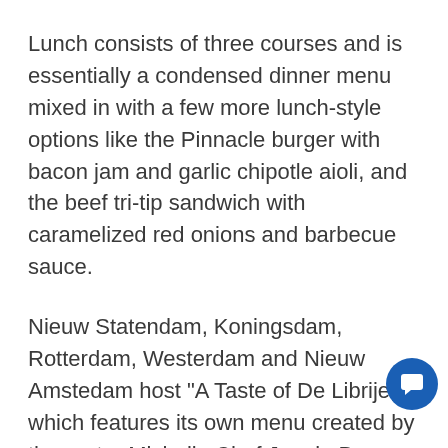Lunch consists of three courses and is essentially a condensed dinner menu mixed in with a few more lunch-style options like the Pinnacle burger with bacon jam and garlic chipotle aioli, and the beef tri-tip sandwich with caramelized red onions and barbecue sauce.
Nieuw Statendam, Koningsdam, Rotterdam, Westerdam and Nieuw Amstedam host "A Taste of De Librije," which features its own menu created by three-star Michelin Chef Jonnie Boer. Dishes are inspired by the chef's